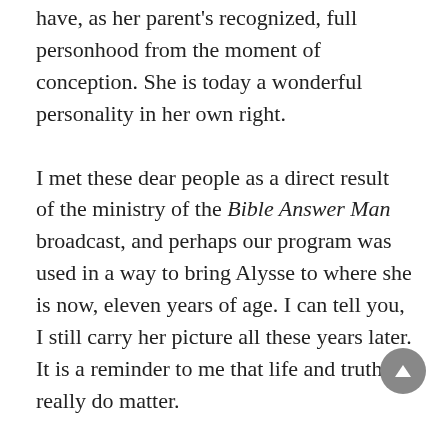have, as her parent's recognized, full personhood from the moment of conception. She is today a wonderful personality in her own right.
I met these dear people as a direct result of the ministry of the Bible Answer Man broadcast, and perhaps our program was used in a way to bring Alysse to where she is now, eleven years of age. I can tell you, I still carry her picture all these years later. It is a reminder to me that life and truth really do matter.
No matter what you hear, listen to what I am saying myself: I will never compromise the essentials of the historic Christian faith. I recognize wonderful Christians in all kinds of different places. I have seen them in the house